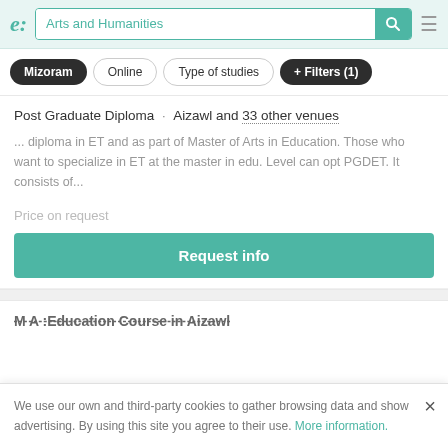Arts and Humanities
Mizoram
Online
Type of studies
+ Filters (1)
Post Graduate Diploma · Aizawl and 33 other venues
... diploma in ET and as part of Master of Arts in Education. Those who want to specialize in ET at the master in edu. Level can opt PGDET. It consists of...
Price on request
Request info
M A :Education Course in Aizawl
We use our own and third-party cookies to gather browsing data and show advertising. By using this site you agree to their use. More information.